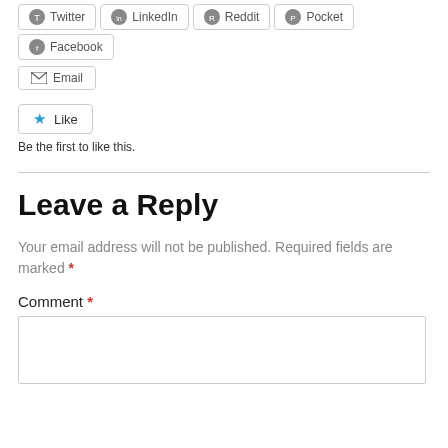[Figure (screenshot): Share buttons row (Twitter, LinkedIn, Reddit, Pocket, Facebook) with rounded border style]
[Figure (screenshot): Email share button with envelope icon]
[Figure (screenshot): Like button with blue star icon]
Be the first to like this.
Leave a Reply
Your email address will not be published. Required fields are marked *
Comment *